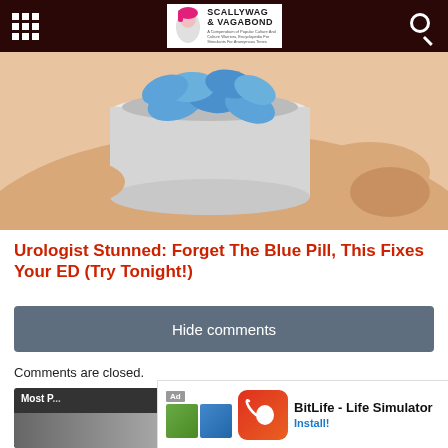Scallywag & Vagabond
[Figure (photo): Hand holding a white pill bottle filled with blue oval tablets (pills), close-up shot on white/skin-toned background]
Urologist Stunned: Forget The Blue Pill, This Fixes Your ED (Try Tonight!)
Hide comments
Comments are closed.
[Figure (screenshot): Most Popular strip partially visible at bottom left]
[Figure (infographic): BitLife - Life Simulator ad banner with Ad label, thumbnail images, BitLife icon, app name, and Install button]